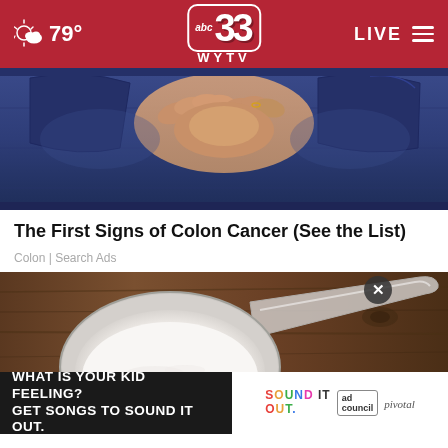79° abc33 WYTV LIVE
[Figure (photo): Photo of person in jeans with hands clasped in front, related to colon cancer article]
The First Signs of Colon Cancer (See the List)
Colon | Search Ads
[Figure (photo): Photo of a measuring scoop filled with white powder on a wooden surface, with an ad banner overlay reading WHAT IS YOUR KID FEELING? GET SONGS TO SOUND IT OUT. with Sound It Out and Ad Council/Pivotal branding]